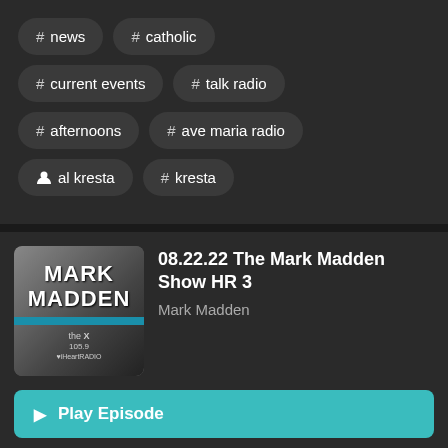# news
# catholic
# current events
# talk radio
# afternoons
# ave maria radio
person al kresta
# kresta
[Figure (illustration): Mark Madden podcast artwork showing 'MARK MADDEN' text with a blue stripe and 'the X 105.9' logo, iHeartRadio branding]
08.22.22 The Mark Madden Show HR 3
Mark Madden
Play Episode
Listen Later